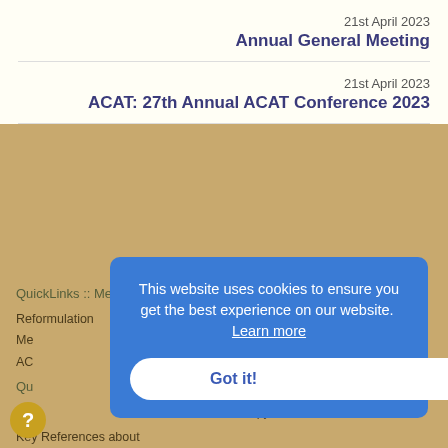21st April 2023
Annual General Meeting
21st April 2023
ACAT: 27th Annual ACAT Conference 2023
QuickLinks :: Members
QuickLinks :: Official
Reformulation
ACAT Privacy Notice
Me
AC
Qu
Ho
Key References about
Therapy Ltd
This website uses cookies to ensure you get the best experience on our website.  Learn more
Got it!